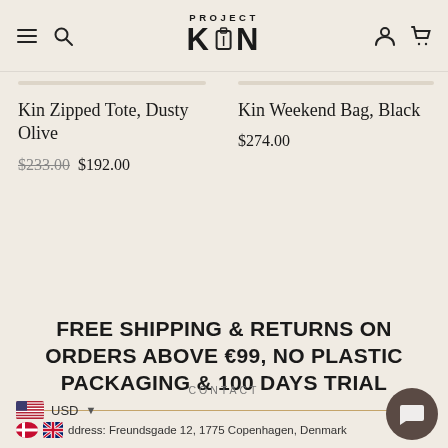Project Kin — navigation header with logo, menu, search, account, cart icons
Kin Zipped Tote, Dusty Olive
$233.00  $192.00
Kin Weekend Bag, Black
$274.00
FREE SHIPPING & RETURNS ON ORDERS ABOVE €99, NO PLASTIC PACKAGING & 100 DAYS TRIAL
CONTACT
USD
Address: Freundsgade 12, 1775 Copenhagen, Denmark